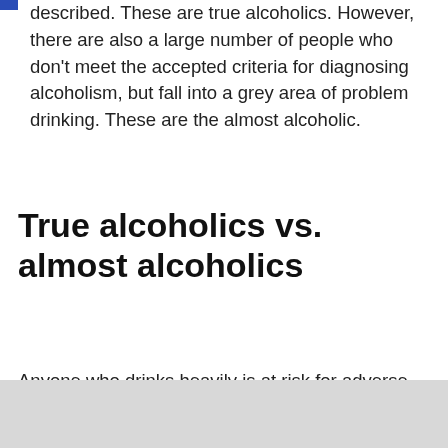described. These are true alcoholics. However, there are also a large number of people who don't meet the accepted criteria for diagnosing alcoholism, but fall into a grey area of problem drinking. These are the almost alcoholic.
True alcoholics vs. almost alcoholics
Anyone who drinks heavily is at risk for adverse health consequences, but some people appear to face a heightened risk for developing alcohol-related health problems. The reason appears to be largely